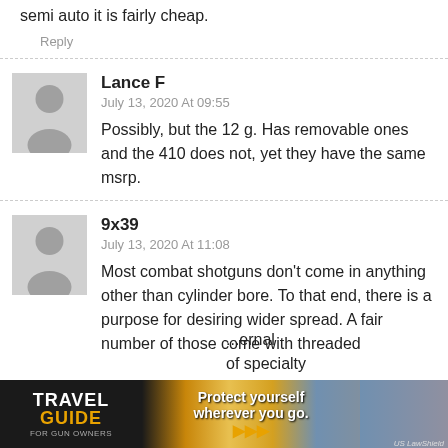semi auto it is fairly cheap.
Reply
Lance F
July 13, 2020 At 09:55
Possibly, but the 12 g. Has removable ones and the 410 does not, yet they have the same msrp.
9x39
July 13, 2020 At 11:08
Most combat shotguns don't come in anything other than cylinder bore. To that end, there is a purpose for desiring wider spread. A fair number of those come with threaded ...ernal ...of specialty
[Figure (advertisement): Travel Guide for Gun Owners advertisement banner with text 'Protect yourself wherever you go.' and US LawShield branding]